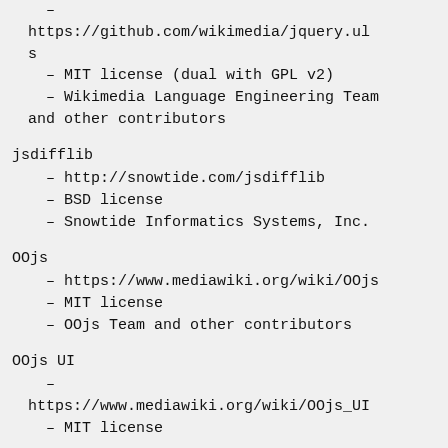– https://github.com/wikimedia/jquery.uls
– MIT license (dual with GPL v2)
– Wikimedia Language Engineering Team and other contributors
jsdifflib
– http://snowtide.com/jsdifflib
– BSD license
– Snowtide Informatics Systems, Inc.
OOjs
– https://www.mediawiki.org/wiki/OOjs
– MIT license
– OOjs Team and other contributors
OOjs UI
– https://www.mediawiki.org/wiki/OOjs_UI
– MIT license